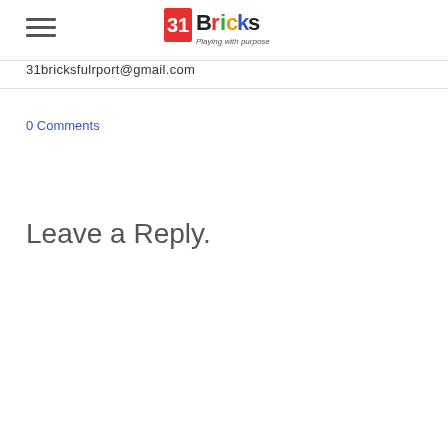31Bricks — Playing with purpose
31bricksfulrport@gmail.com
0 Comments
Leave a Reply.